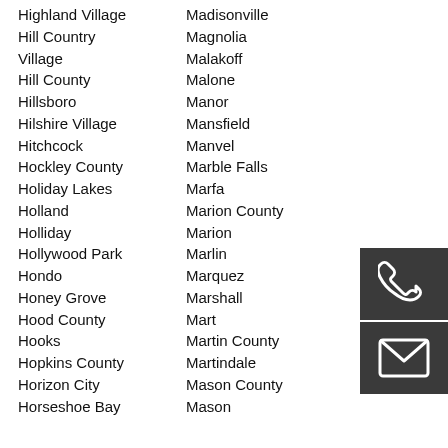Highland Village | Madisonville
Hill Country Village | Magnolia
Hill County | Malakoff
Hillsboro | Malone
Hilshire Village | Manor
Hitchcock | Mansfield
Hockley County | Manvel
Holiday Lakes | Marble Falls
Holland | Marfa
Holliday | Marion County
Hollywood Park | Marion
Hondo | Marlin
Honey Grove | Marquez
Hood County | Marshall
Hooks | Mart
Hopkins County | Martin County
Horizon City | Martindale
Horseshoe Bay | Mason County
| Mason
[Figure (illustration): Dark grey box with white telephone handset icon]
[Figure (illustration): Dark grey box with white envelope/mail icon]